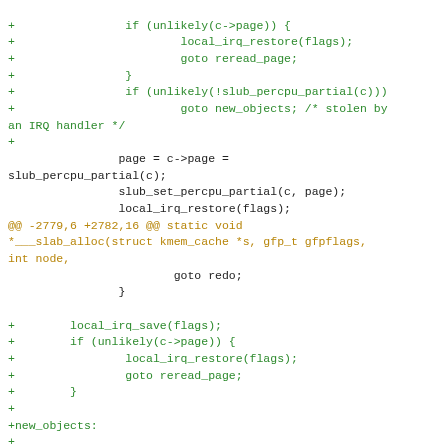[Figure (screenshot): A code diff snippet showing C kernel code changes. Green lines are added diff lines, orange/dark-yellow lines are diff hunk headers and context. The code involves slub memory allocator functions: local_irq_restore, goto reread_page, slub_percpu_partial, slub_set_percpu_partial, static void __slab_alloc, goto redo, local_irq_save, lockdep_assert_irqs_disabled, get_partial.]